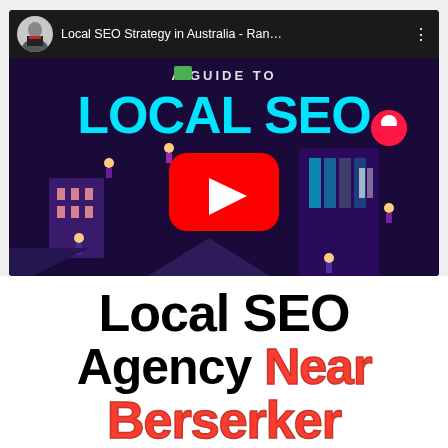[Figure (screenshot): YouTube video embed showing 'Local SEO Strategy in Australia - Ran...' with a channel avatar (man in suit), video thumbnail of a purple-themed Local SEO infographic with isometric buildings and people, and a red YouTube play button in the center.]
Local SEO Agency Near Berserker